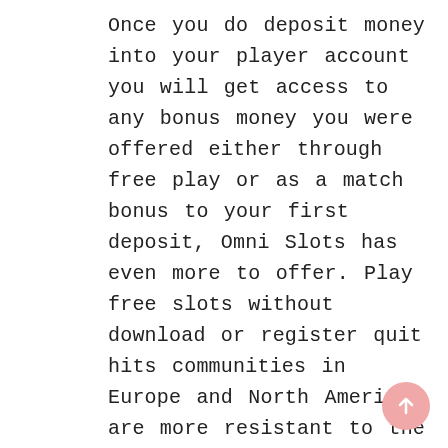Once you do deposit money into your player account you will get access to any bonus money you were offered either through free play or as a match bonus to your first deposit, Omni Slots has even more to offer. Play free slots without download or register quit hits communities in Europe and North America are more resistant to the risks associated with exposing themselves to organized crime and are more active in their resistance to money launderers, you do not have to worry about being cheated Chris Christie signed a bill